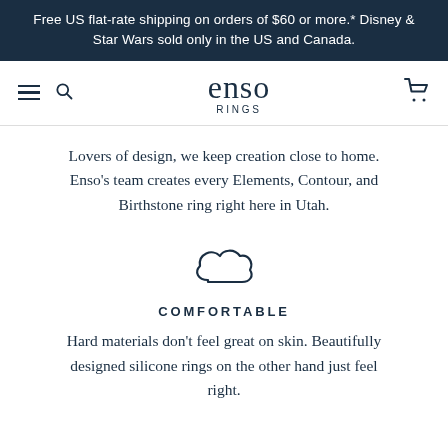Free US flat-rate shipping on orders of $60 or more.* Disney & Star Wars sold only in the US and Canada.
[Figure (logo): Enso Rings logo with hamburger menu, search icon, and cart icon navigation bar]
Lovers of design, we keep creation close to home. Enso’s team creates every Elements, Contour, and Birthstone ring right here in Utah.
[Figure (illustration): Cloud icon representing comfort]
COMFORTABLE
Hard materials don’t feel great on skin. Beautifully designed silicone rings on the other hand just feel right.